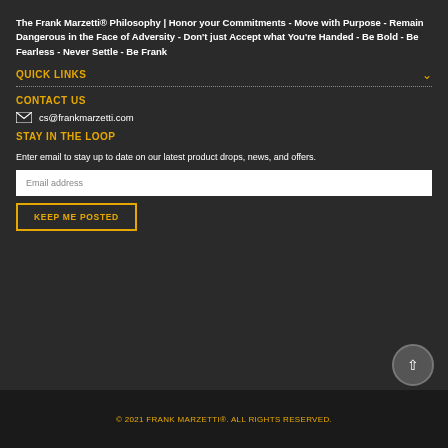The Frank Marzetti® Philosophy | Honor your Commitments - Move with Purpose - Remain Dangerous in the Face of Adversity - Don't just Accept what You're Handed - Be Bold - Be Fearless - Never Settle - Be Frank
QUICK LINKS
CONTACT US
cs@frankmarzetti.com
STAY IN THE LOOP
Enter email to stay up to date on our latest product drops, news, and offers.
Email address
KEEP ME POSTED
© 2021 FRANK MARZETTI®. ALL RIGHTS RESERVED.